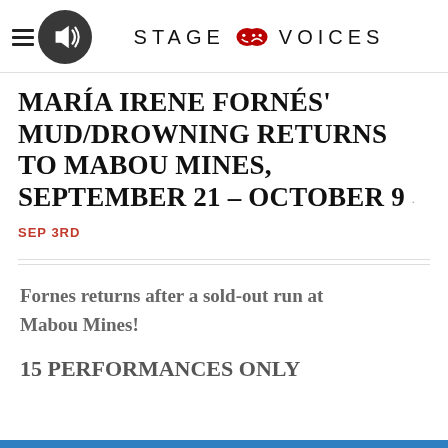STAGE VOICES
MARÍA IRENE FORNÉS' MUD/DROWNING RETURNS TO MABOU MINES, SEPTEMBER 21 – OCTOBER 9 · SEP 3RD
Fornes returns after a sold-out run at Mabou Mines!
15 PERFORMANCES ONLY